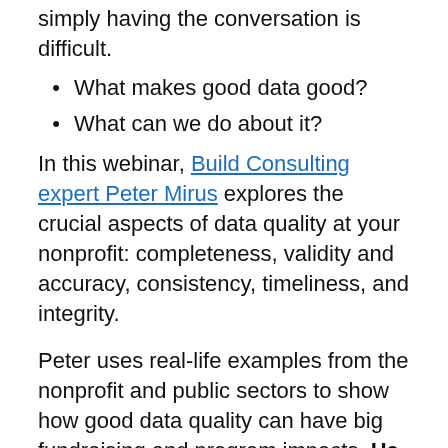simply having the conversation is difficult.
What makes good data good?
What can we do about it?
In this webinar, Build Consulting expert Peter Mirus explores the crucial aspects of data quality at your nonprofit: completeness, validity and accuracy, consistency, timeliness, and integrity.
Peter uses real-life examples from the nonprofit and public sectors to show how good data quality can have big fundraising and program impacts. He explores the role of good data at your organization, provides tips on how to get everyone at your organization on the same page,